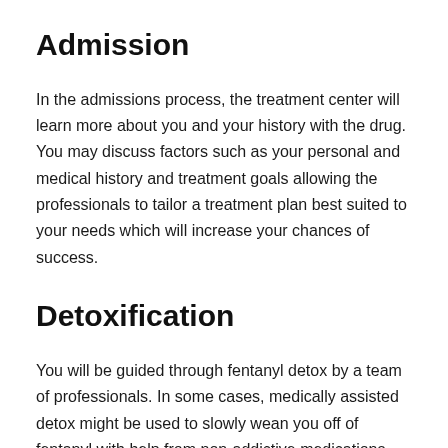Admission
In the admissions process, the treatment center will learn more about you and your history with the drug. You may discuss factors such as your personal and medical history and treatment goals allowing the professionals to tailor a treatment plan best suited to your needs which will increase your chances of success.
Detoxification
You will be guided through fentanyl detox by a team of professionals. In some cases, medically assisted detox might be used to slowly wean you off of fentanyl with help from non-addictive medications that will ease withdrawal symptoms.
You may also be placed through after additional...